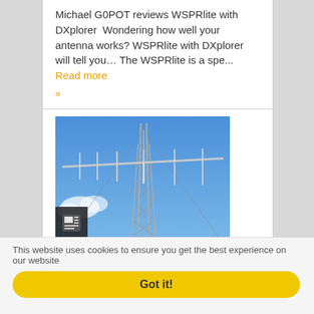Michael G0POT reviews WSPRlite with DXplorer Wondering how well your antenna works? WSPRlite with DXplorer will tell you… The WSPRlite is a spe... Read more »
[Figure (photo): Photograph of a Yagi antenna mounted on a tower against a blue sky with some clouds]
This website uses cookies to ensure you get the best experience on our website
Got it!